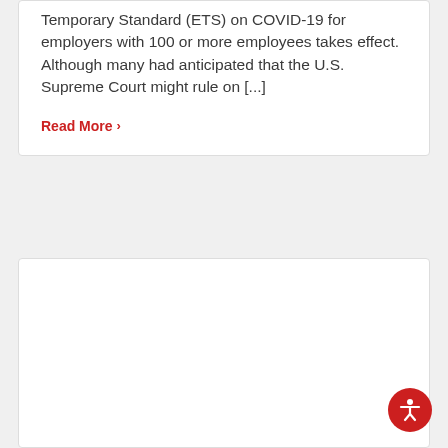Temporary Standard (ETS) on COVID-19 for employers with 100 or more employees takes effect. Although many had anticipated that the U.S. Supreme Court might rule on [...]
Read More >